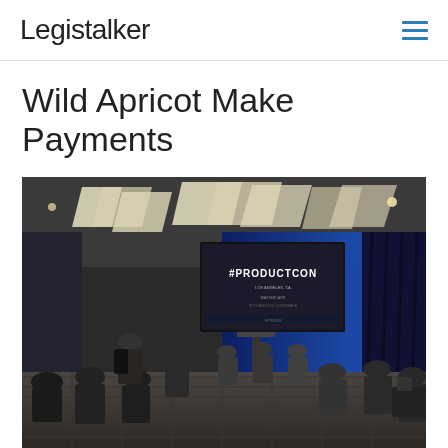Legistalker
Wild Apricot Make Payments
[Figure (photo): Conference room with audience seated in rows facing a large projection screen displaying '#PRODUCTCON' logo, with blue ambient lighting on the back wall and geometric ceiling light fixtures.]